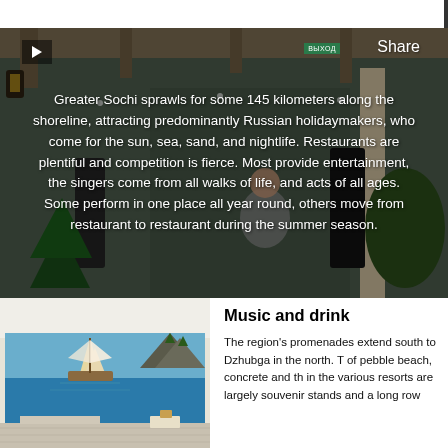[Figure (photo): A performer on stage in what appears to be a restaurant interior, with lanterns, Christmas trees with decorations, and audio equipment. Text overlay covers the image.]
Greater Sochi sprawls for some 145 kilometers along the shoreline, attracting predominantly Russian holidaymakers, who come for the sun, sea, sand, and nightlife. Restaurants are plentiful and competition is fierce. Most provide entertainment, the singers come from all walks of life, and acts of all ages. Some perform in one place all year round, others move from restaurant to restaurant during the summer season.
[Figure (photo): Interior of a café or restaurant with a large mural painting of a sailing ship near rocky coastal cliffs on the wall. Tables and chairs visible in foreground.]
Music and drink
The region's promenades extend south to Dzhubga in the north. T of pebble beach, concrete and th in the various resorts are largely souvenir stands and a long row